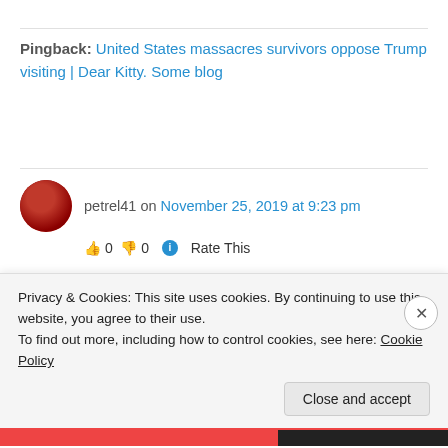Pingback: United States massacres survivors oppose Trump visiting | Dear Kitty. Some blog
petrel41 on November 25, 2019 at 9:23 pm
👍 0 👎 0 ℹ Rate This
[Figure (screenshot): YouTube video thumbnail showing TRNN logo and title 'How Corporate Media Fuel...' with cartoon illustration of burning books]
Privacy & Cookies: This site uses cookies. By continuing to use this website, you agree to their use.
To find out more, including how to control cookies, see here: Cookie Policy
Close and accept